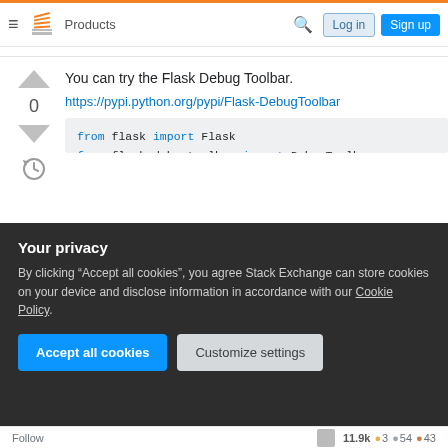≡  Stack Overflow  Products  🔍  Log in  Sign up
You can try the Flask Debug Toolbar.
https://pypi.python.org/pypi/Flask-DebugToolbar
from flask import Flask
from flask_debugtoolbar import DebugToolbar

app = Flask(__name__)

# the toolbar is only enabled in debug mode
app.debug = True

# set a 'SECRET_KEY' to enable the Flask se
Your privacy
By clicking "Accept all cookies", you agree Stack Exchange can store cookies on your device and disclose information in accordance with our Cookie Policy.
Accept all cookies   Customize settings
Follow   11.9k ● 3 ● 54 ● 43